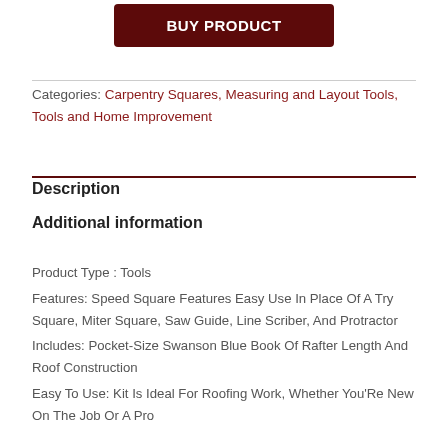BUY PRODUCT
Categories: Carpentry Squares, Measuring and Layout Tools, Tools and Home Improvement
Description
Additional information
Product Type : Tools
Features: Speed Square Features Easy Use In Place Of A Try Square, Miter Square, Saw Guide, Line Scriber, And Protractor
Includes: Pocket-Size Swanson Blue Book Of Rafter Length And Roof Construction
Easy To Use: Kit Is Ideal For Roofing Work, Whether You'Re New On The Job Or A Pro